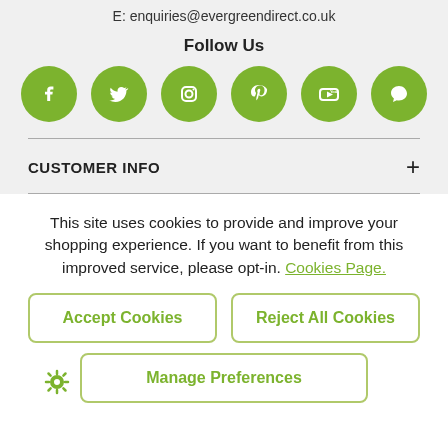E: enquiries@evergreendirect.co.uk
Follow Us
[Figure (illustration): Six green circular social media icons: Facebook, Twitter, Instagram, Pinterest, YouTube, and a chat/comment bubble.]
CUSTOMER INFO +
This site uses cookies to provide and improve your shopping experience. If you want to benefit from this improved service, please opt-in. Cookies Page.
Accept Cookies
Reject All Cookies
Manage Preferences